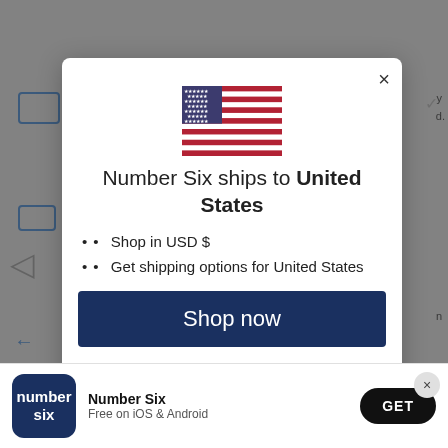[Figure (screenshot): Background website page with icons and currency selector]
Number Six ships to United States
Shop in USD $
Get shipping options for United States
Shop now
[Figure (logo): Number Six app icon — navy blue square with 'number six' text in white]
Number Six
Free on iOS & Android
GET